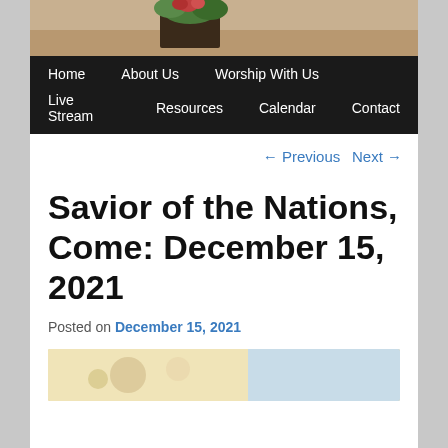[Figure (photo): Top header photo showing a floral arrangement with greenery in a dark vase on a wooden surface]
Home    About Us    Worship With Us    Live Stream    Resources    Calendar    Contact
← Previous    Next →
Savior of the Nations, Come: December 15, 2021
Posted on December 15, 2021
[Figure (photo): Partial view of a decorative image at the bottom of the page]